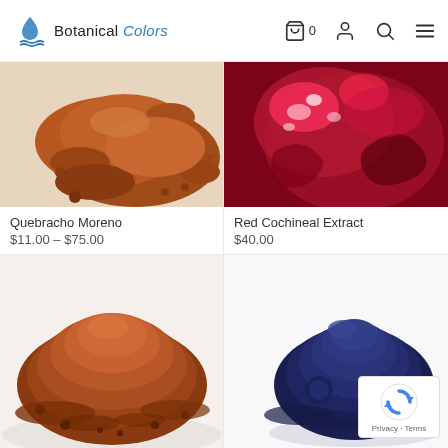Botanical Colors
[Figure (photo): Close-up photo of reddish-brown Quebracho Moreno powder on white background]
Quebracho Moreno
$11.00 – $75.00
SELECT OPTIONS
[Figure (photo): Close-up macro photo of deep red/crimson Red Cochineal Extract with fluid texture]
Red Cochineal Extract
$40.00
ADD TO CART
[Figure (photo): Pile of reddish-brown powder (catechu or similar botanical dye) on white plate]
[Figure (photo): Pile of deep navy blue indigo powder on white background]